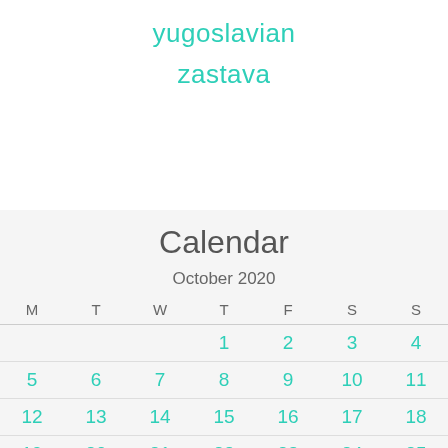yugoslavian
zastava
Calendar
October 2020
| M | T | W | T | F | S | S |
| --- | --- | --- | --- | --- | --- | --- |
|  |  |  | 1 | 2 | 3 | 4 |
| 5 | 6 | 7 | 8 | 9 | 10 | 11 |
| 12 | 13 | 14 | 15 | 16 | 17 | 18 |
| 19 | 20 | 21 | 22 | 23 | 24 | 25 |